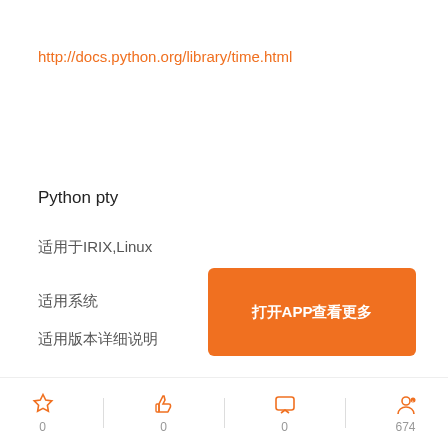http://docs.python.org/library/time.html
Python pty
适用于IRIX,Linux
适用系统
适用版本详细说明
[Figure (other): Orange button with text 打开APP查看更多]
Pty模块提供了对伪终端概念的处理操作,生成一个进程,并读取或写入到它的控制终端
0  0  0  674